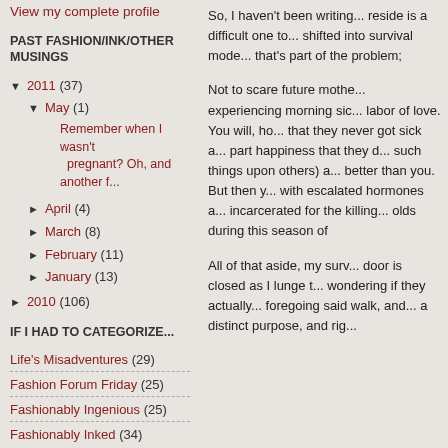View my complete profile
PAST FASHION/INK/OTHER MUSINGS
▼ 2011 (37)
▼ May (1)
Remember when I wasn't pregnant? Oh, and another f...
► April (4)
► March (8)
► February (11)
► January (13)
► 2010 (106)
IF I HAD TO CATEGORIZE...
Life's Misadventures (29)
Fashion Forum Friday (25)
Fashionably Ingenious (25)
Fashionably Inked (34)
So, I haven't been writing... reside is a difficult one to... shifted into survival mode... that's part of the problem;
Not to scare future mothe... experiencing morning sic... labor of love. You will, ho... that they never got sick a... part happiness that they d... such things upon others) a... better than you. But then y... with escalated hormones a... incarcerated for the killing... olds during this season of
All of that aside, my surv... door is closed as I lunge t... wondering if they actually... foregoing said walk, and... a distinct purpose, and rig...